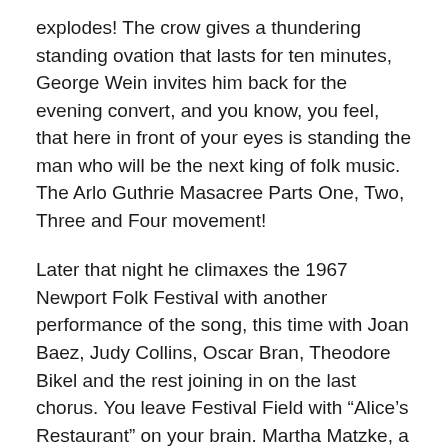explodes! The crow gives a thundering standing ovation that lasts for ten minutes, George Wein invites him back for the evening convert, and you know, you feel, that here in front of your eyes is standing the man who will be the next king of folk music. The Arlo Guthrie Masacree Parts One, Two, Three and Four movement!
Later that night he climaxes the 1967 Newport Folk Festival with another performance of the song, this time with Joan Baez, Judy Collins, Oscar Bran, Theodore Bikel and the rest joining in on the last chorus. You leave Festival Field with “Alice’s Restaurant” on your brain. Martha Matzke, a Providence Journal reporter, says: “He’s beautiful.” The New York Times calls him the new “festival hero.” Arlo Guthrie is here!
The young man who created that very remarkable song and experience for an audience of 15,000, is the 20 year-old son of Woody Guthrie, the rambling hard who wrote